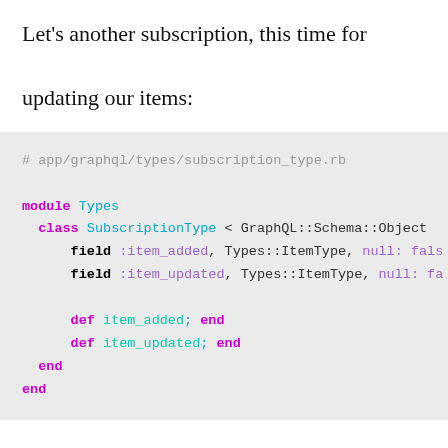Let's another subscription, this time for updating our items:
[Figure (screenshot): Ruby code block showing a subscription_type.rb file with module Types, class SubscriptionType, field definitions for item_added and item_updated, and def methods]
This is how we should trigger this kind of